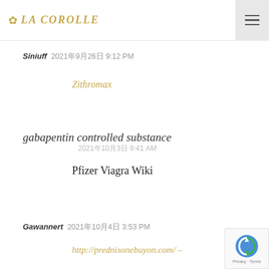LA COROLLE
Siniuff 2021年9月26日 9:12 PM
Zithromax
gabapentin controlled substance
2021年10月3日 9:41 AM
Pfizer Viagra Wiki
Gawannert 2021年10月4日 3:53 PM
http://prednisonebuyon.com/ –